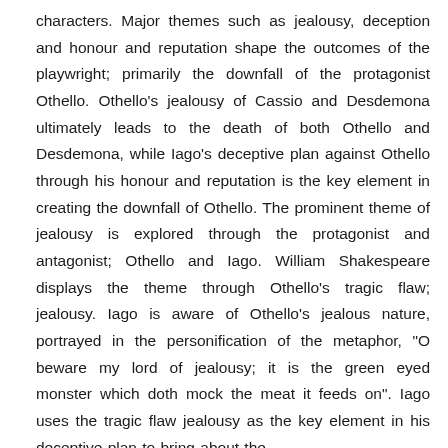characters. Major themes such as jealousy, deception and honour and reputation shape the outcomes of the playwright; primarily the downfall of the protagonist Othello. Othello's jealousy of Cassio and Desdemona ultimately leads to the death of both Othello and Desdemona, while Iago's deceptive plan against Othello through his honour and reputation is the key element in creating the downfall of Othello. The prominent theme of jealousy is explored through the protagonist and antagonist; Othello and Iago. William Shakespeare displays the theme through Othello's tragic flaw; jealousy. Iago is aware of Othello's jealous nature, portrayed in the personification of the metaphor, "O beware my lord of jealousy; it is the green eyed monster which doth mock the meat it feeds on". Iago uses the tragic flaw jealousy as the key element in his deceptive plan to bring about the